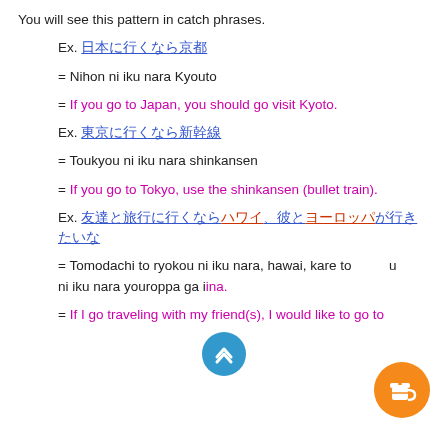You will see this pattern in catch phrases.
Ex. 日本に行くなら京都
= Nihon ni iku nara Kyouto
= If you go to Japan, you should go visit Kyoto.
Ex. 東京に行くなら新幹線
= Toukyou ni iku nara shinkansen
= If you go to Tokyo, use the shinkansen (bullet train).
Ex. 友達と旅行に行くならハワイ、彼とヨーロッパが...
= Tomodachi to ryokou ni iku nara, hawai, kare to ... ni iku nara youroppa ga iina.
= If I go traveling with my friend(s), I would like to go to